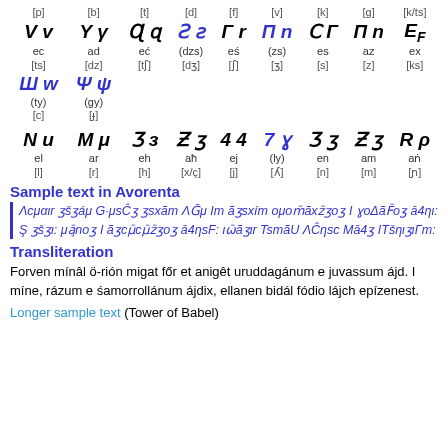| [p] | [b] | [t] | [d] | [f] | [v] | [k] | [g] | [k/ts] |
| --- | --- | --- | --- | --- | --- | --- | --- | --- |
| V v | Y γ | Ɋ ɋ | Ƨ ƨ | Γ r | Π n | Ϲ Γ | Π n | Ε F |
| ec | ad | eć | (dzs) | eś | (zs) | es | az | ex |
| [ts] | [dz] | [tʃ] | [dʒ] | [ʃ] | [ʒ] | [s] | [z] | [ks] |
| Ш w | Ψ ψ |  |  |  |  |  |  |  |
| (ty) | (gy) |  |  |  |  |  |  |  |
| [c] | [ɟ] |  |  |  |  |  |  |  |
| N u | M μ | Ʒ з | Ƶ ʒ | 4 4 | 7 ɣ | Ʒ ʒ | Ʒ ʒ | R ρ |
| el | ar | eh | aħ | ej | (ly) | en | am | aṅ |
| [l] | [r] | [h] | [x/ç] | [j] | [ʎ] | [n] | [m] | [ɲ] |
Sample text in Avorenta
Λcμαιr ʒšʒáμ G·μsĈʒ ʒsxãm ΛḠμ Im ãʒsxím ομοm̄ãxz̄ʒoʒ I ɣoΔãF̄oʒ ā4ηι: Ş ʒšʒι: μā̧noʒ I ãʒcμ̄cμ̄z̄ʒoʒ ā4ηsF: ιω̄ãʒιr TsmãU ΛĈηsc Mā4ʒ ITšηιʒιΓm:
Transliteration
Forven mínâl ö-rión migat főr et anigêt uruddagánum e juvassum ájd. I míne, rázum e śamorrollánum ájdix, ellanen bidál fódio lájch epízenest.
Longer sample text (Tower of Babel)